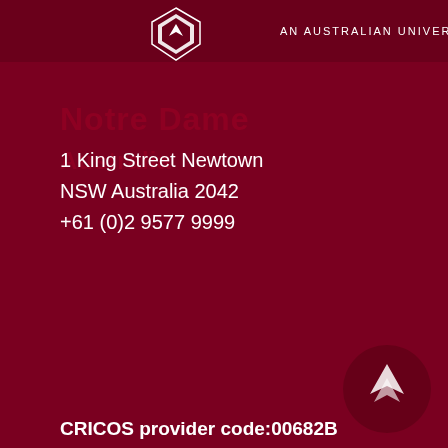[Figure (logo): University college logo with shield/diamond shape at top, white on dark red background, with tagline AN AUSTRALIAN UNIVERSITY COLLEGE]
1 King Street Newtown
NSW Australia 2042
+61 (0)2 9577 9999
CRICOS provider code:00682B
[Figure (logo): Circular dark red logo with upward pointing arrow/chevron at bottom right of page]